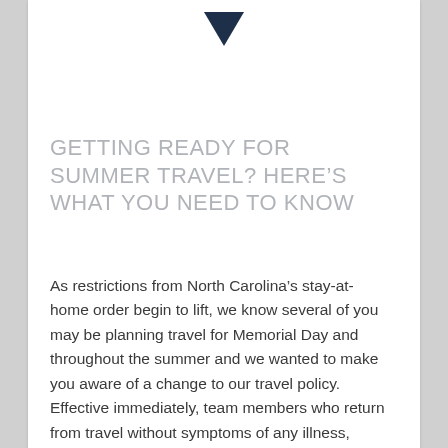[Figure (illustration): Dark navy downward-pointing chevron/arrow icon at top center of card]
GETTING READY FOR SUMMER TRAVEL? HERE'S WHAT YOU NEED TO KNOW
As restrictions from North Carolina's stay-at-home order begin to lift, we know several of you may be planning travel for Memorial Day and throughout the summer and we wanted to make you aware of a change to our travel policy. Effective immediately, team members who return from travel without symptoms of any illness, including COVID-19, will [...]